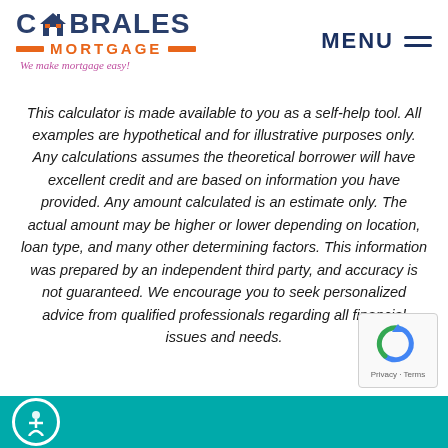[Figure (logo): Cabrales Mortgage logo with house icon, orange bars, and tagline 'We make mortgage easy!']
MENU ≡
This calculator is made available to you as a self-help tool. All examples are hypothetical and for illustrative purposes only. Any calculations assumes the theoretical borrower will have excellent credit and are based on information you have provided. Any amount calculated is an estimate only. The actual amount may be higher or lower depending on location, loan type, and many other determining factors. This information was prepared by an independent third party, and accuracy is not guaranteed. We encourage you to seek personalized advice from qualified professionals regarding all financial issues and needs.
[Figure (logo): reCAPTCHA badge with blue/green circular arrow icon and Privacy - Terms links]
Footer bar with teal background and circular accessibility icon